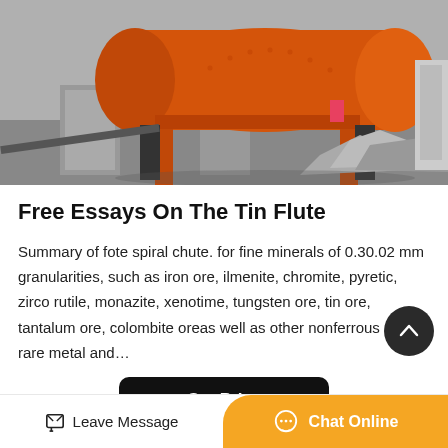[Figure (photo): Industrial mining equipment – large orange cylindrical ball mill or drum on a metal frame at an outdoor construction/mining site with concrete blocks and scrap metal visible]
Free Essays On The Tin Flute
Summary of fote spiral chute. for fine minerals of 0.30.02 mm granularities, such as iron ore, ilmenite, chromite, pyretic, zirco rutile, monazite, xenotime, tungsten ore, tin ore, tantalum ore, colombite oreas well as other nonferrous metal, rare metal and…
Get Price
Leave Message
Chat Online